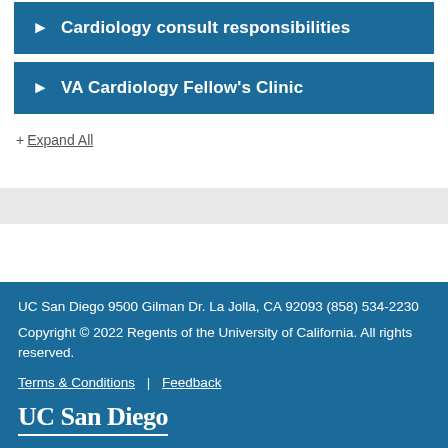▶ Cardiology consult responsibilities
▶ VA Cardiology Fellow's Clinic
+ Expand All
UC San Diego 9500 Gilman Dr. La Jolla, CA 92093 (858) 534-2230
Copyright © 2022 Regents of the University of California. All rights reserved.
Terms & Conditions | Feedback
UC San Diego